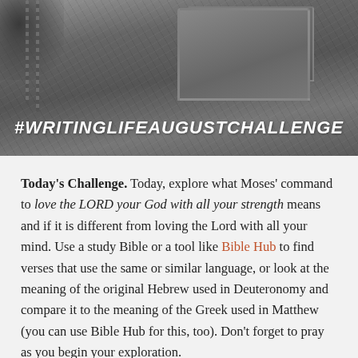[Figure (photo): Close-up black and white photo of dark fabric/denim with stitching and a pocket, overlaid with the hashtag text #WRITINGLIFEAUGUSTCHALLENGE in white bold italic uppercase letters]
Today's Challenge. Today, explore what Moses' command to love the LORD your God with all your strength means and if it is different from loving the Lord with all your mind. Use a study Bible or a tool like Bible Hub to find verses that use the same or similar language, or look at the meaning of the original Hebrew used in Deuteronomy and compare it to the meaning of the Greek used in Matthew (you can use Bible Hub for this, too). Don't forget to pray as you begin your exploration.